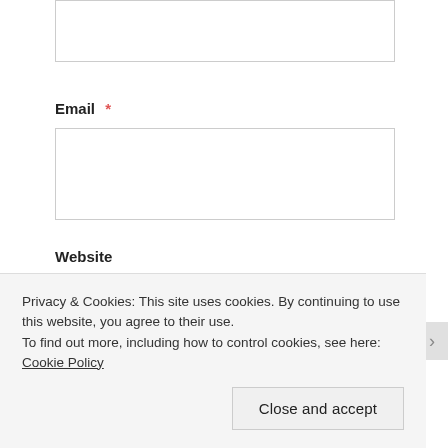[Input field - top, partial]
Email *
[Email input field]
Website
[Website input field]
Privacy & Cookies: This site uses cookies. By continuing to use this website, you agree to their use.
To find out more, including how to control cookies, see here: Cookie Policy
Close and accept